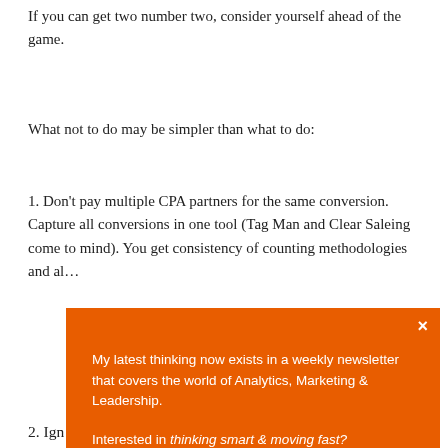If you can get two number two, consider yourself ahead of the game.
What not to do may be simpler than what to do:
1. Don't pay multiple CPA partners for the same conversion. Capture all conversions in one tool (Tag Man and Clear Saleing come to mind). You get consistency of counting methodologies and al…
2. Ign… helpin…
Cheer…
Jason…
[Figure (screenshot): Orange modal popup overlay with white text: 'My latest thinking now exists in a weekly newsletter that covers the world of Analytics, Marketing & Leadership.' followed by 'Interested in thinking smart & moving fast?' and a black 'Join The Movement' button. Has an X close button in top right.]
REPL…
Avinash Kaushik says:
April 2, 2012 at 22:33